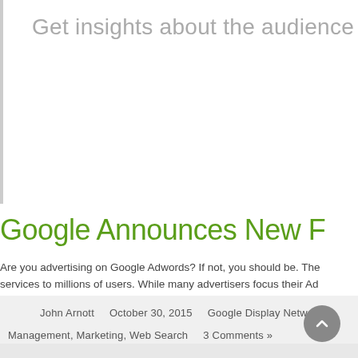Get insights about the audience i
Google Announces New F
Are you advertising on Google Adwords? If not, you should be. The
services to millions of users. While many advertisers focus their Ad
John Arnott   October 30, 2015   Google Display Network, o
Management, Marketing, Web Search   3 Comments »